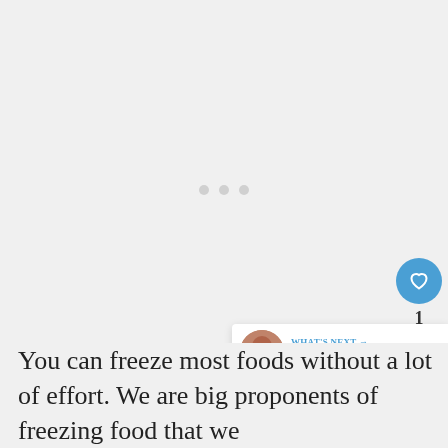[Figure (other): Large mostly blank/white content area with three small gray dots centered, representing a loading or placeholder image area]
[Figure (other): Floating UI elements on right side: blue circular heart/favorite button, count label '1', and white circular share button with share icon]
[Figure (other): What's Next panel showing a circular thumbnail image, 'WHAT'S NEXT →' label in blue, and text 'Mediterranean Diet Breakfa...']
You can freeze most foods without a lot of effort. We are big proponents of freezing food that we